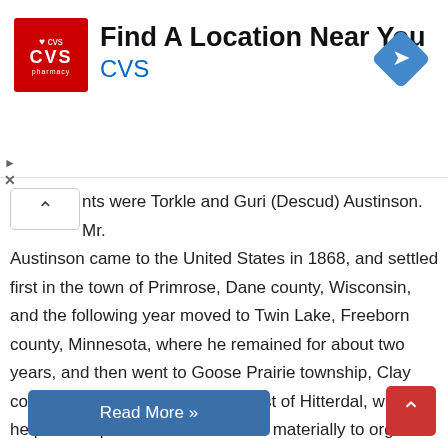[Figure (screenshot): CVS Pharmacy advertisement banner with red logo, 'Find A Location Near You' heading, blue CVS text, and a blue direction arrow icon.]
nts were Torkle and Guri (Descud) Austinson. Mr. Austinson came to the United States in 1868, and settled first in the town of Primrose, Dane county, Wisconsin, and the following year moved to Twin Lake, Freeborn county, Minnesota, where he remained for about two years, and then went to Goose Prairie township, Clay county, Minnesota, three miles east of Hitterdal, where he proved up a claim and assisted materially to organize the town of Goose Prairie. He ...
Read More »